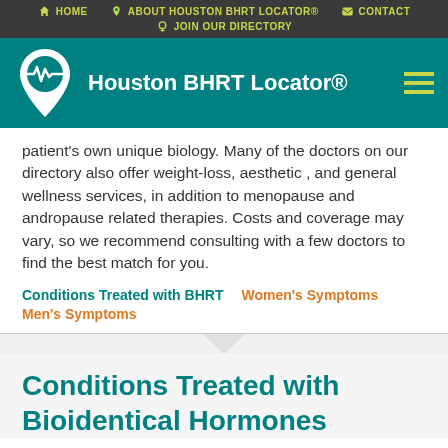HOME | ABOUT HOUSTON BHRT LOCATOR® | CONTACT | JOIN OUR DIRECTORY
Houston BHRT Locator®
patient's own unique biology. Many of the doctors on our directory also offer weight-loss, aesthetic , and general wellness services, in addition to menopause and andropause related therapies. Costs and coverage may vary, so we recommend consulting with a few doctors to find the best match for you.
Conditions Treated with BHRT
Women's Symptoms
Men's Symptoms
Conditions Treated with Bioidentical Hormones